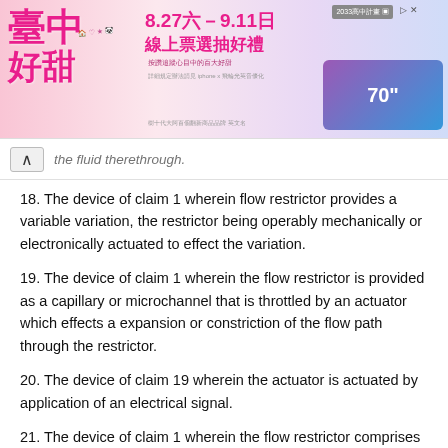[Figure (other): Advertisement banner in Chinese with pink and purple gradient background, showing dates 8.27-9.11, Chinese text, and product images]
the fluid therethrough.
18. The device of claim 1 wherein flow restrictor provides a variable variation, the restrictor being operably mechanically or electronically actuated to effect the variation.
19. The device of claim 1 wherein the flow restrictor is provided as a capillary or microchannel that is throttled by an actuator which effects a expansion or constriction of the flow path through the restrictor.
20. The device of claim 19 wherein the actuator is actuated by application of an electrical signal.
21. The device of claim 1 wherein the flow restrictor comprises a heatable element which on heating varies the viscosity of the fluid within the flow restrictor so as to operably regulate the pressure of the fluid and maintain the fluid in a supercritical state while within the microchannel.
22. The device of claim 21 wherein the heatable element of the flow